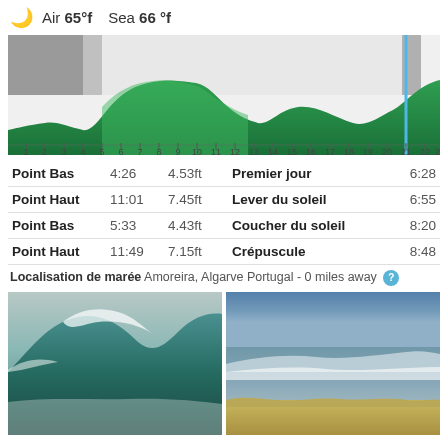Air 65°f   Sea 66 °f
[Figure (area-chart): Tidal area chart showing green wave area and gray sky band over 24 hours with blue current time marker at hour 22]
| Point Bas | 4:26 | 4.53ft | Premier jour | 6:28 |
| Point Haut | 11:01 | 7.45ft | Lever du soleil | 6:55 |
| Point Bas | 5:33 | 4.43ft | Coucher du soleil | 8:20 |
| Point Haut | 11:49 | 7.15ft | Crépuscule | 8:48 |
Localisation de marée Amoreira, Algarve Portugal - 0 miles away
[Figure (photo): Large breaking wave, tube/barrel wave closeup, green-blue water]
[Figure (photo): Beach scene with small waves breaking, blue sky, vegetation in foreground]